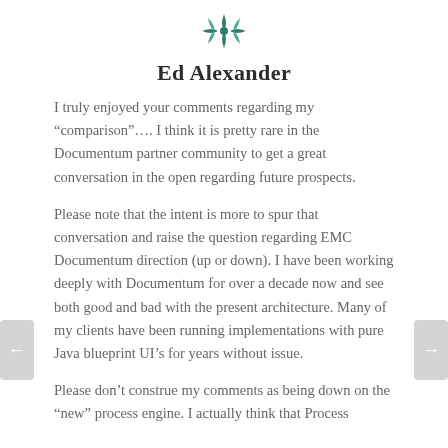[Figure (logo): Decorative geometric/floral icon in teal/green color at top center]
Ed Alexander
I truly enjoyed your comments regarding my “comparison”…. I think it is pretty rare in the Documentum partner community to get a great conversation in the open regarding future prospects.
Please note that the intent is more to spur that conversation and raise the question regarding EMC Documentum direction (up or down). I have been working deeply with Documentum for over a decade now and see both good and bad with the present architecture. Many of my clients have been running implementations with pure Java blueprint UI’s for years without issue.
Please don’t construe my comments as being down on the “new” process engine. I actually think that Process